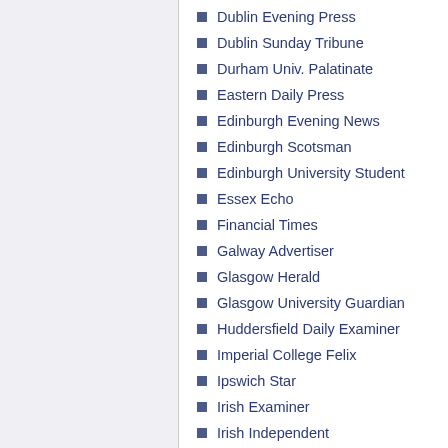Dublin Evening Press
Dublin Sunday Tribune
Durham Univ. Palatinate
Eastern Daily Press
Edinburgh Evening News
Edinburgh Scotsman
Edinburgh University Student
Essex Echo
Financial Times
Galway Advertiser
Glasgow Herald
Glasgow University Guardian
Huddersfield Daily Examiner
Imperial College Felix
Ipswich Star
Irish Examiner
Irish Independent
Irish News
Irish Post
Irish Press
Irish Times